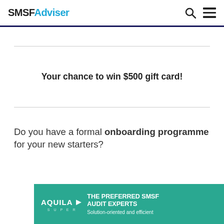SMSFAdviser
Your chance to win $500 gift card!
Do you have a formal onboarding programme for your new starters?
[Figure (advertisement): Aquila Super advertisement banner — THE PREFERRED SMSF AUDIT EXPERTS. Solution-oriented and efficient]